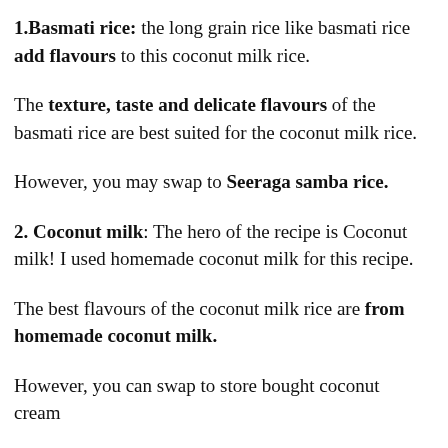1.Basmati rice: the long grain rice like basmati rice add flavours to this coconut milk rice.
The texture, taste and delicate flavours of the basmati rice are best suited for the coconut milk rice.
However, you may swap to Seeraga samba rice.
2. Coconut milk: The hero of the recipe is Coconut milk! I used homemade coconut milk for this recipe.
The best flavours of the coconut milk rice are from homemade coconut milk.
However, you can swap to store bought coconut cream